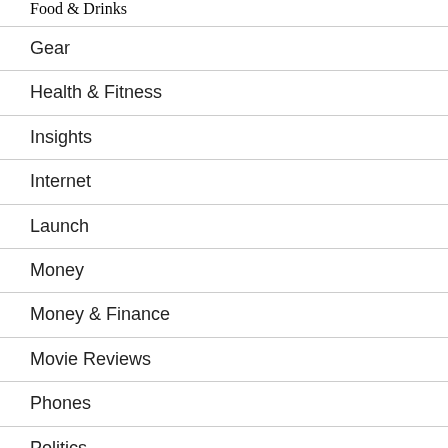Food & Drinks
Gear
Health & Fitness
Insights
Internet
Launch
Money
Money & Finance
Movie Reviews
Phones
Politics
Popular